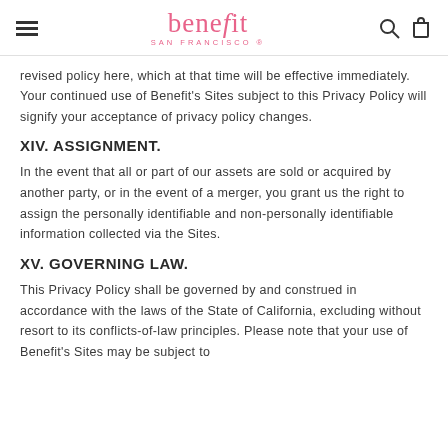benefit SAN FRANCISCO
revised policy here, which at that time will be effective immediately. Your continued use of Benefit's Sites subject to this Privacy Policy will signify your acceptance of privacy policy changes.
XIV. ASSIGNMENT.
In the event that all or part of our assets are sold or acquired by another party, or in the event of a merger, you grant us the right to assign the personally identifiable and non-personally identifiable information collected via the Sites.
XV. GOVERNING LAW.
This Privacy Policy shall be governed by and construed in accordance with the laws of the State of California, excluding without resort to its conflicts-of-law principles. Please note that your use of Benefit's Sites may be subject to